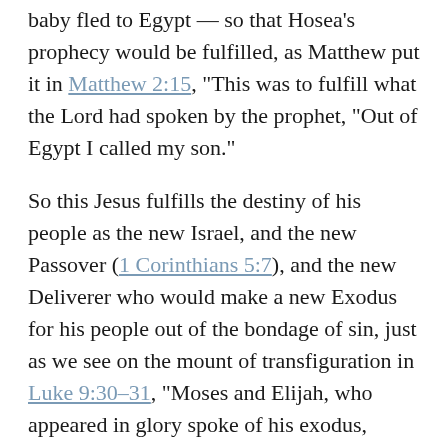baby fled to Egypt — so that Hosea's prophecy would be fulfilled, as Matthew put it in Matthew 2:15, “This was to fulfill what the Lord had spoken by the prophet, “Out of Egypt I called my son.”
So this Jesus fulfills the destiny of his people as the new Israel, and the new Passover (1 Corinthians 5:7), and the new Deliverer who would make a new Exodus for his people out of the bondage of sin, just as we see on the mount of transfiguration in Luke 9:30–31, “Moses and Elijah, who appeared in glory spoke of his exodus, which he was about to accomplish at Jerusalem.”
And when he came to that night in Jerusalem, he was in great distress, and in his crying out to God he revealed that the crisis in the mission of the